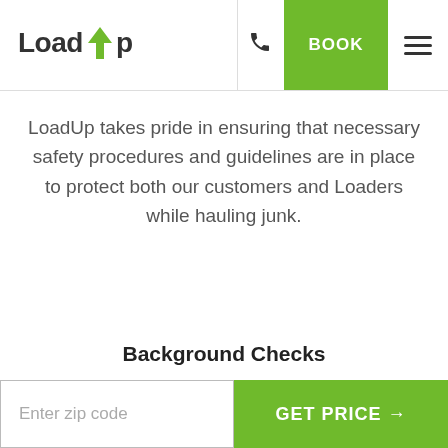LoadUp | BOOK
LoadUp takes pride in ensuring that necessary safety procedures and guidelines are in place to protect both our customers and Loaders while hauling junk.
Background Checks
Enter zip code | GET PRICE →